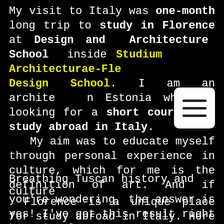My visit to Italy was one-month long trip to study in Florence at Design and Architecture School inside Studium Architecturae-Florence Design School. I am an architect from Estonia who was looking for a short course and study abroad in Italy. My aim was to educate myself through personal experience in culture, which for me is the definition of art. And if you're wondering, the answer is yes! I've got this result right here in Florence.
Breathing Tuscan history and culture
Florence is a unique place for study abroad in Italy. Here I can witness spectacular architecture, art and